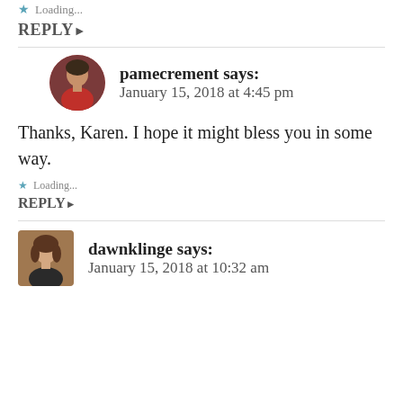★ Loading...
REPLY ▸
pamecrement says: January 15, 2018 at 4:45 pm
Thanks, Karen. I hope it might bless you in some way.
★ Loading...
REPLY ▸
dawnklinge says: January 15, 2018 at 10:32 am